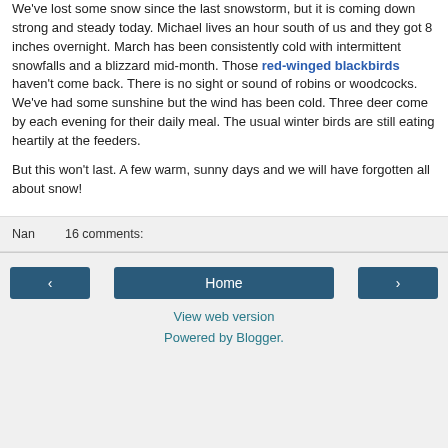We've lost some snow since the last snowstorm, but it is coming down strong and steady today. Michael lives an hour south of us and they got 8 inches overnight. March has been consistently cold with intermittent snowfalls and a blizzard mid-month. Those red-winged blackbirds haven't come back. There is no sight or sound of robins or woodcocks. We've had some sunshine but the wind has been cold. Three deer come by each evening for their daily meal. The usual winter birds are still eating heartily at the feeders.
But this won't last. A few warm, sunny days and we will have forgotten all about snow!
Nan    16 comments:
Home  View web version  Powered by Blogger.